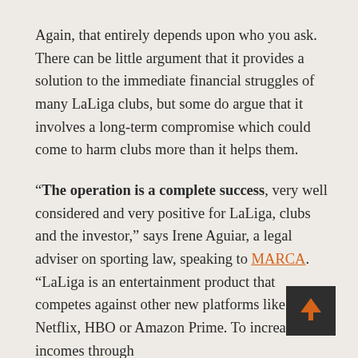Again, that entirely depends upon who you ask. There can be little argument that it provides a solution to the immediate financial struggles of many LaLiga clubs, but some do argue that it involves a long-term compromise which could come to harm clubs more than it helps them.
“The operation is a complete success, very well considered and very positive for LaLiga, clubs and the investor,” says Irene Aguiar, a legal adviser on sporting law, speaking to MARCA. “LaLiga is an entertainment product that competes against other new platforms like Netflix, HBO or Amazon Prime. To increase incomes through